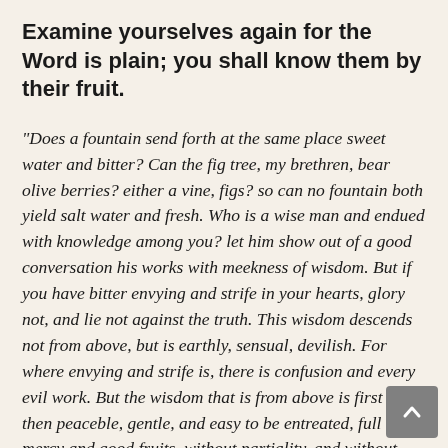Examine yourselves again for the Word is plain; you shall know them by their fruit.
“Does a fountain send forth at the same place sweet water and bitter? Can the fig tree, my brethren, bear olive berries? either a vine, figs? so can no fountain both yield salt water and fresh. Who is a wise man and endued with knowledge among you? let him show out of a good conversation his works with meekness of wisdom. But if you have bitter envying and strife in your hearts, glory not, and lie not against the truth. This wisdom descends not from above, but is earthly, sensual, devilish. For where envying and strife is, there is confusion and every evil work. But the wisdom that is from above is first pure, then peaceble, gentle, and easy to be entreated, full of mercy and good fruits, without partiality, and without